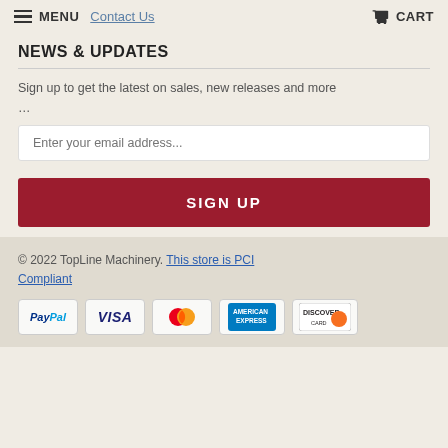MENU  Contact Us  CART
NEWS & UPDATES
Sign up to get the latest on sales, new releases and more …
Enter your email address...
SIGN UP
© 2022 TopLine Machinery. This store is PCI Compliant